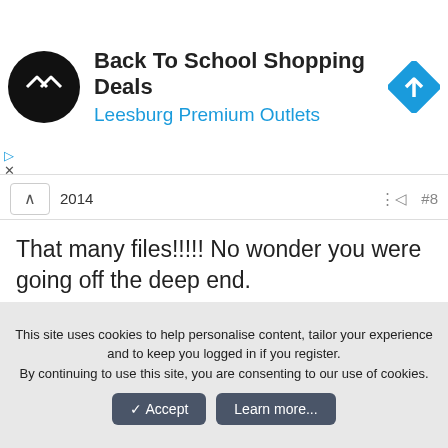[Figure (other): Advertisement banner: Back To School Shopping Deals at Leesburg Premium Outlets with circular logo and navigation arrow icon]
2014  #8
That many files!!!!! No wonder you were going off the deep end.
I would focus more on the files that are market Excellent.
In List view, click the heading State so that the Excellent files are sorted at the top of the list.
This site uses cookies to help personalise content, tailor your experience and to keep you logged in if you register.
By continuing to use this site, you are consenting to our use of cookies.